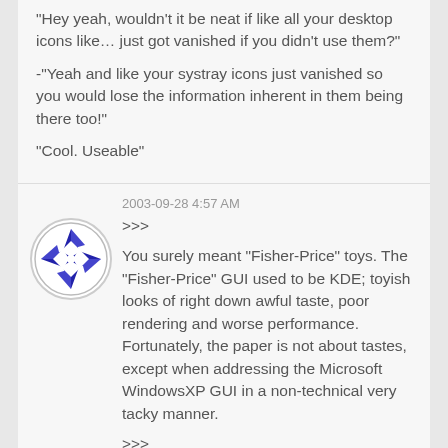"Hey yeah, wouldn't it be neat if like all your desktop icons like… just got vanished if you didn't use them?"
-"Yeah and like your systray icons just vanished so you would lose the information inherent in them being there too!"
"Cool. Useable"
2003-09-28 4:57 AM
>>>
You surely meant "Fisher-Price" toys. The "Fisher-Price" GUI used to be KDE; toyish looks of right down awful taste, poor rendering and worse performance. Fortunately, the paper is not about tastes, except when addressing the Microsoft WindowsXP GUI in a non-technical very tacky manner.
>>>
Not sure where your attack on KDEs (old.